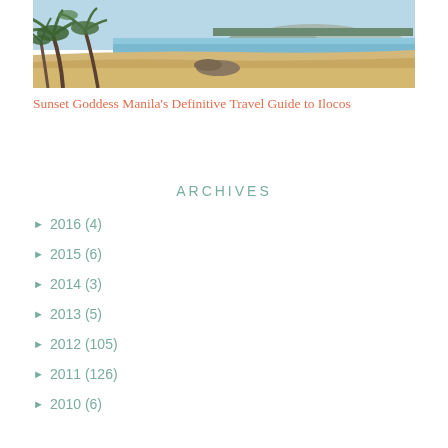[Figure (photo): Beach scene with palm trees on the left side, sandy shore, and calm blue ocean water with a tree-lined coast visible in the background under a clear sky.]
Sunset Goddess Manila’s Definitive Travel Guide to Ilocos
ARCHIVES
► 2016 (4)
► 2015 (6)
► 2014 (3)
► 2013 (5)
► 2012 (105)
► 2011 (126)
► 2010 (6)